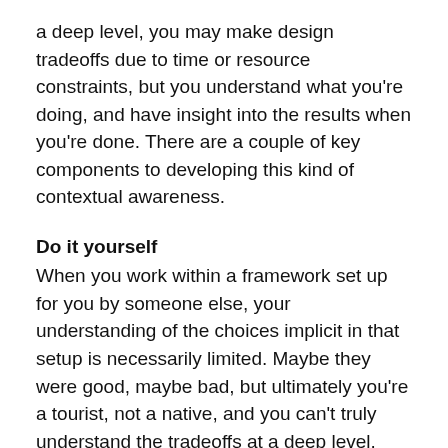a deep level, you may make design tradeoffs due to time or resource constraints, but you understand what you're doing, and have insight into the results when you're done. There are a couple of key components to developing this kind of contextual awareness.
Do it yourself
When you work within a framework set up for you by someone else, your understanding of the choices implicit in that setup is necessarily limited. Maybe they were good, maybe bad, but ultimately you're a tourist, not a native, and you can't truly understand the tradeoffs at a deep level. Throwing something into the microwave isn't cooking, and using a cake mix isn't baking. You have to be comfortable setting things up on your own, doing everything from scratch. Doing so gives you a deeper understanding of the consequences of your choices, and